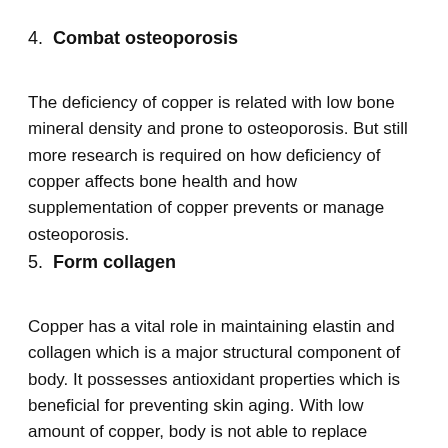4.  Combat osteoporosis
The deficiency of copper is related with low bone mineral density and prone to osteoporosis. But still more research is required on how deficiency of copper affects bone health and how supplementation of copper prevents or manage osteoporosis.
5.  Form collagen
Copper has a vital role in maintaining elastin and collagen which is a major structural component of body. It possesses antioxidant properties which is beneficial for preventing skin aging. With low amount of copper, body is not able to replace damaged